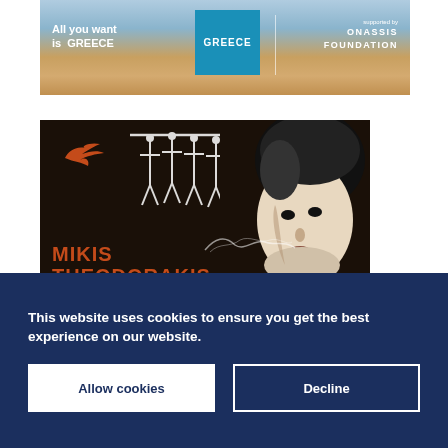[Figure (illustration): Greece tourism advertisement banner showing 'All you want is GREECE' text with Greece logo in blue square, Onassis Foundation supporting text, and background of beach/sea with a person sitting]
[Figure (photo): Mikis Theodorakis promotional poster with dark background, orange bird symbol, stylized human figures, portrait of young Mikis Theodorakis in black and white, name 'MIKIS THEODORAKIS' in large orange letters]
This website uses cookies to ensure you get the best experience on our website.
Allow cookies
Decline